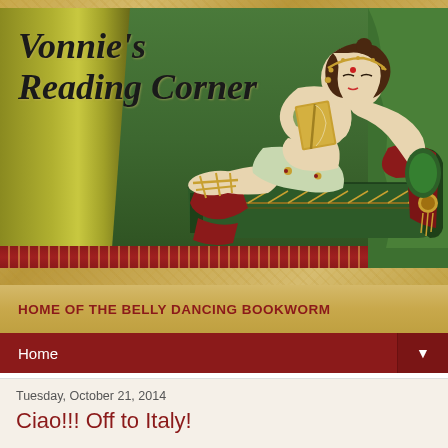[Figure (illustration): Blog header banner for 'Vonnie's Reading Corner' featuring a belly dancer illustration — a woman in ornate belly dancing costume reclining on a green chaise lounge, reading a book, with gold jewelry, red draping, sandals with gold straps, against green and yellow curtain backdrop. Blog title 'Vonnie's Reading Corner' in large italic black text overlaid on the left side.]
HOME OF THE BELLY DANCING BOOKWORM
Home
Tuesday, October 21, 2014
Ciao!!! Off to Italy!